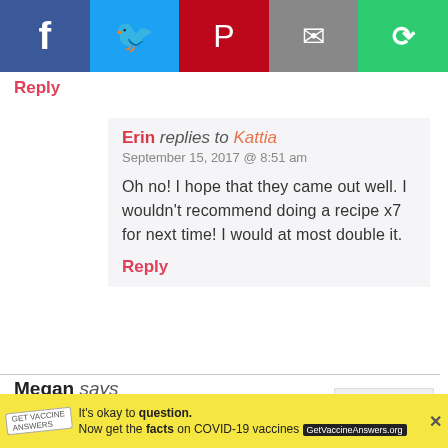[Figure (other): Social share bar with Facebook (blue), Twitter (light blue), Pinterest (red), Email (gray), and another share option (green) buttons]
Reply
Erin replies to Kattia
September 15, 2017 @ 8:51 am

Oh no! I hope that they came out well. I wouldn't recommend doing a recipe x7 for next time! I would at most double it.

Reply
Megan says
August 6, 2017 @ 1:31 am

Could I use a 9″x9″ baking pan instead? Or will brownies be too thin?
Scroll to top
[Figure (other): Advertisement bar: yellow background, GetVaccineAnswers.org ad saying It's okay to question. Now get the facts on COVID-19 vaccines]